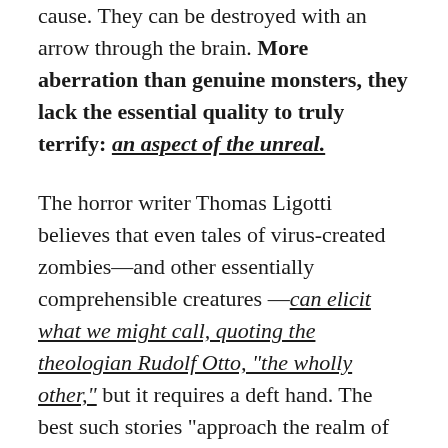cause. They can be destroyed with an arrow through the brain. More aberration than genuine monsters, they lack the essential quality to truly terrify: an aspect of the unreal.
The horror writer Thomas Ligotti believes that even tales of virus-created zombies—and other essentially comprehensible creatures —can elicit what we might call, quoting the theologian Rudolf Otto, "the wholly other," but it requires a deft hand. The best such stories "approach the realm of the supernatural," he told me over